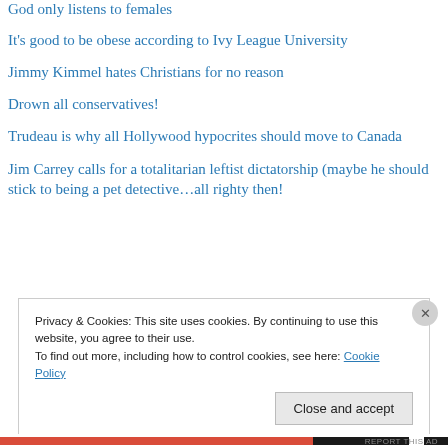God only listens to females
It's good to be obese according to Ivy League University
Jimmy Kimmel hates Christians for no reason
Drown all conservatives!
Trudeau is why all Hollywood hypocrites should move to Canada
Jim Carrey calls for a totalitarian leftist dictatorship (maybe he should stick to being a pet detective…all righty then!
Privacy & Cookies: This site uses cookies. By continuing to use this website, you agree to their use.
To find out more, including how to control cookies, see here: Cookie Policy
Close and accept